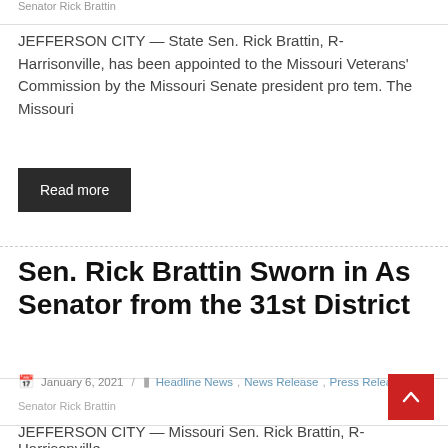Senator Rick Brattin
JEFFERSON CITY — State Sen. Rick Brattin, R-Harrisonville, has been appointed to the Missouri Veterans' Commission by the Missouri Senate president pro tem. The Missouri
Read more
Sen. Rick Brattin Sworn in As Senator from the 31st District
January 6, 2021 / Headline News, News Release, Press Release,
Senator Rick Brattin
JEFFERSON CITY — Missouri Sen. Rick Brattin, R-Harrisonville,